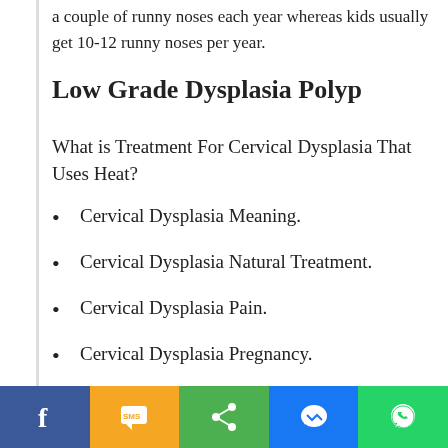a couple of runny noses each year whereas kids usually get 10-12 runny noses per year.
Low Grade Dysplasia Polyp
What is Treatment For Cervical Dysplasia That Uses Heat?
Cervical Dysplasia Meaning.
Cervical Dysplasia Natural Treatment.
Cervical Dysplasia Pain.
Cervical Dysplasia Pregnancy.
Facebook | SMS | Share | Messenger | WhatsApp